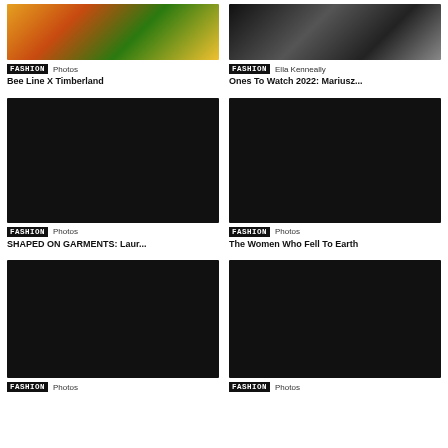[Figure (photo): Colorful outdoor fashion photo with people in orange, yellow, black clothing among green foliage]
FASHION Photos
Bee Line X Timberland
[Figure (photo): Black and white fashion photo]
FASHION Ella Kenneally
Ones To Watch 2022: Mariusz...
[Figure (photo): Dark fashion photo]
FASHION Photos
SHAPED ON GARMENTS: Laur...
[Figure (photo): Dark fashion photo]
FASHION Photos
The Women Who Fell To Earth
[Figure (photo): Dark fashion photo bottom left]
FASHION Photos
[Figure (photo): Dark fashion photo bottom right]
FASHION Photos